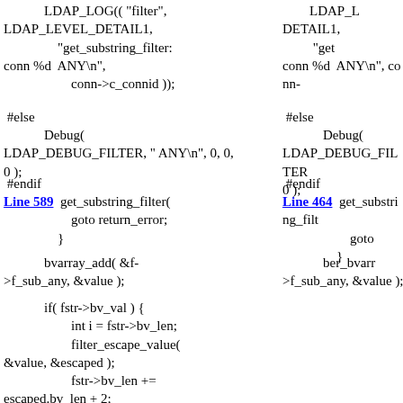LDAP_LOG(( "filter", LDAP_LEVEL_DETAIL1, "get_substring_filter: conn %d  ANY\n", conn->c_connid ));
#else
Debug( LDAP_DEBUG_FILTER, " ANY\n", 0, 0, 0 );
#endif
Line 589  get_substring_filter(  goto return_error;  }
LDAP_L... DETAIL1, "get... conn %d  ANY\n", conn-...
#else
Debug( LDAP_DEBUG_FILTER... 0 );
#endif
Line 464  get_substring_filt...  goto  }
bvarray_add( &f->f_sub_any, &value );
ber_bvarr...>f_sub_any, &value );
if( fstr->bv_val ) {
    int i = fstr->bv_len;
    filter_escape_value(
&value, &escaped );
        fstr->bv_len +=
escaped.bv_len + 2;
        fstr->bv_val =
ch_realloc( fstr->bv_val